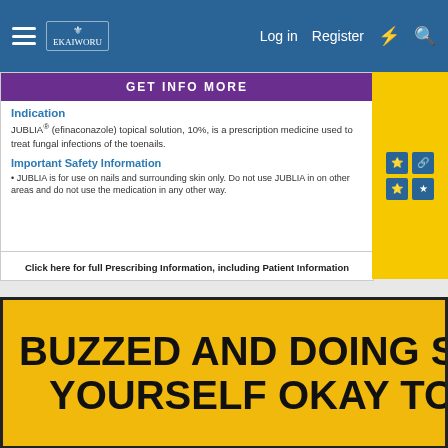[Figure (screenshot): Forum website navigation bar with hamburger menu, logo, Log in, Register links, lightning bolt and search icons on blue background]
[Figure (screenshot): Medical advertisement for JUBLIA (efinaconazole) topical solution 10% with Indication and Important Safety Information sections and purple header]
[Figure (screenshot): Yellow banner advertisement with bold black text reading BUZZED AND DOING SOMET... YOURSELF OKAY TO...]
REGISTER TO REMOVE
[Figure (screenshot): Forum user avatar showing animated character with green plants]
Just Dari
i've got the healing vision
Staff member
Feb 25, 2019
#21
Memory Fragment: Resolve Match#2 [Shiki, Yamato]